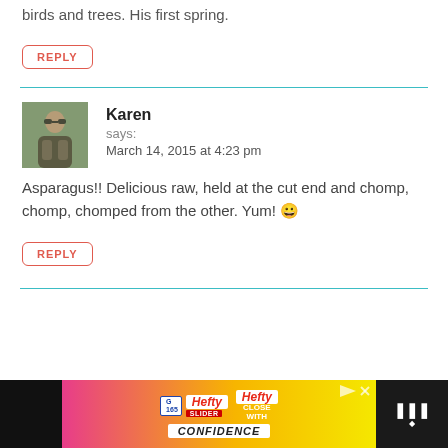birds and trees. His first spring.
REPLY
Karen
says:
March 14, 2015 at 4:23 pm
Asparagus!! Delicious raw, held at the cut end and chomp, chomp, chomped from the other. Yum! 😀
REPLY
[Figure (photo): Advertisement banner for Hefty Slider bags with 'Close With Confidence' tagline]